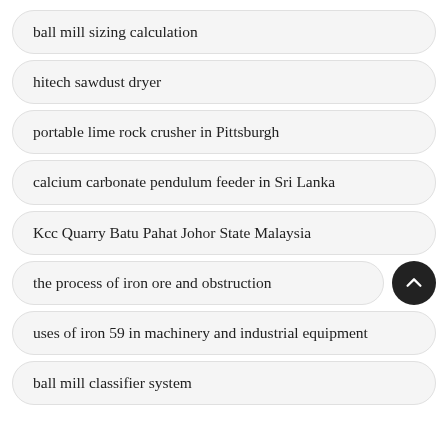ball mill sizing calculation
hitech sawdust dryer
portable lime rock crusher in Pittsburgh
calcium carbonate pendulum feeder in Sri Lanka
Kcc Quarry Batu Pahat Johor State Malaysia
the process of iron ore and obstruction
uses of iron 59 in machinery and industrial equipment
ball mill classifier system